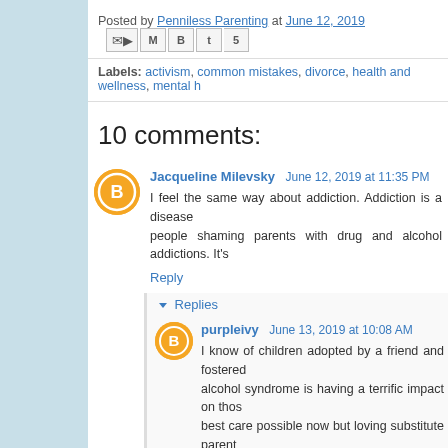Posted by Penniless Parenting at June 12, 2019
Labels: activism, common mistakes, divorce, health and wellness, mental h...
10 comments:
Jacqueline Milevsky  June 12, 2019 at 11:35 PM
I feel the same way about addiction. Addiction is a disease people shaming parents with drug and alcohol addictions. It's
Reply
Replies
purpleivy  June 13, 2019 at 10:08 AM
I know of children adopted by a friend and fostered alcohol syndrome is having a terrific impact on those best care possible now but loving substitute parent have to disagree that in some cases it does make s
purpleivy  June 13, 2019 at 10:09 AM